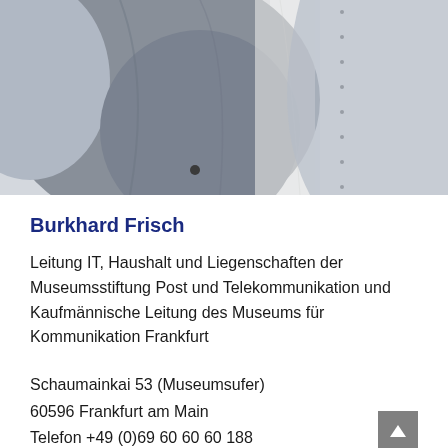[Figure (photo): Partial photograph of a person wearing a grey blazer/jacket over a white shirt with buttons visible on the right side. Only the torso area is shown, no face visible.]
Burkhard Frisch
Leitung IT, Haushalt und Liegenschaften der Museumsstiftung Post und Telekommunikation und Kaufmännische Leitung des Museums für Kommunikation Frankfurt
Schaumainkai 53 (Museumsufer)
60596 Frankfurt am Main
Telefon: +49 (0)69 60 60 60 188